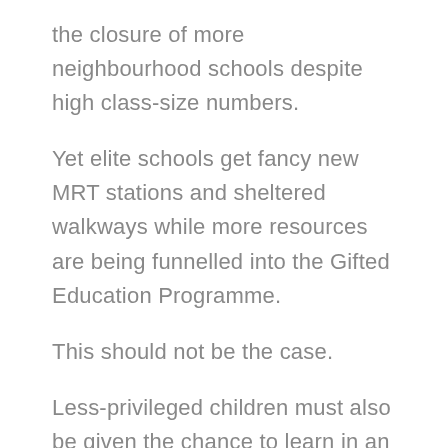the closure of more neighbourhood schools despite high class-size numbers.
Yet elite schools get fancy new MRT stations and sheltered walkways while more resources are being funnelled into the Gifted Education Programme.
This should not be the case.
Less-privileged children must also be given the chance to learn in an enviroment where more attention can be paid to their needs, and in which they are equipped with the right tools to succeed.